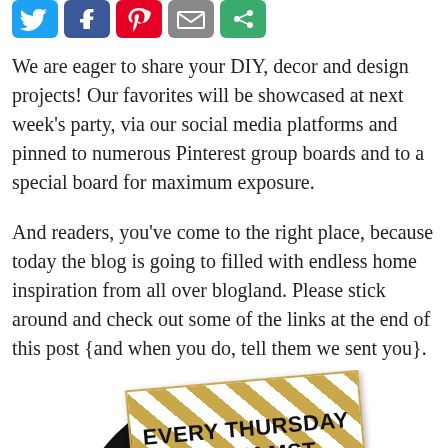[Figure (other): Row of social media share buttons: Twitter (blue bird), Facebook (blue f), Pinterest (red P), Email (grey envelope), Share (green icon)]
We are eager to share your DIY, decor and design projects! Our favorites will be showcased at next week’s party, via our social media platforms and pinned to numerous Pinterest group boards and to a special board for maximum exposure.
And readers, you’ve come to the right place, because today the blog is going to filled with endless home inspiration from all over blogland. Please stick around and check out some of the links at the end of this post {and when you do, tell them we sent you}.
[Figure (other): Circular black badge with diagonal gold and white striped banner across it reading EVERY THURSDAY @ 7 AM MST in bold black uppercase text]